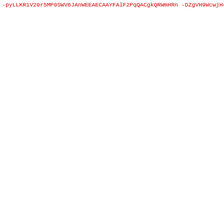-pyLLKR1V20r5MP0SWV6JAnWEEAECAAYFAlF2PqQACgkQRWmHRn
-DZgVH9WcwjH4Cn4ght08vi3oD8tq9mPxvHrgz7R19dspyDiwVc
-pxto/Myvd77akQjGJT55snhaU+BL+rqhLowTh3ulrVvybVIBK2
-3yJWjGuOE8SIHi43ZTXCCSxNfQdFyJQR8zqN3prRRBft2l+Gsy
-LtSTVMYDqE1sQOHChmfSsjnA4ppcBcjgzK8UJSo6Gg9pWkg0zh
-kxAIwFfOSMMFarrpaVd86tynEvukc8ToAlaPAKAkfn3MLu383e
-MwxnBTiS7VP7+TWfx6+McLGAUhaghCarAbs1LuSZyfS0PhN+N0
-2k2qVRYvYr3YzmUK0CRDpU94ShrLqbC85lFjxP6KPMT7A9kbZ4
-PQvA9aPGq29mtbXjGqR53i+SROoYrElABw7oG7sXv868+k6272
-H6dsHgcgXTdpW4Hfee2qtsqdmewr50x5nFNBAZN50nGyvLtMC4
-arpbNDtceveaeTSCSuA1CNxUfHbY4tv8zG47m0YRoyG9E2jktH
-KZ3aKd/QWT45ykF7yX4Dj/iyhSLfsu+P7TUpemGJAj4EEwECAC
-CQPCZwAGCwkIBwMCBhUIAgkKCwQWAgMBAh4BAheAAAoJEH0Z0a
-dAHZYVZF505pniJ9D6U0b8yjZ3ykHxSThKxWLZBcrXSZa2m9KB
-Bp1rOtiunldYI42fpROLGFh3sjqaTyhs1B54uKakMIFVF4hXij
-8Pa721w0eXSnCREMakWsszaTHRKhVVsbP6T4FJWM7qt9VAM1UU
-RSRx1mMg5jsVSTJt3jaE3CgKvWcJ/AgQ4eL3rFrIm8GEaxeHLt
-nPdUG+mvMubESIvMRj+kEKQXSC1Z+sPOES89HfQCMEr+nxM1in
-mIoOKHL/RR8wBFOX+oNVaNQD7Sn39YVhSbDvDbgaMCJWCoMbvh
-9rwYiJoMzE1b9Hind20X11XSWQE2T7POKg1iocw+ZiVwv5hE0Y
-4EmUFDpd+1x/vZ3Z+JVRNn8J8vu8GOerJOPlnIqTNb3FOLXdYZ
-UUDCqZ3Z/t2oALijUqnpEYjioBnPzCRe7IwyqnGOPVsxO6e7+3
-jDUZUeYUJvTZQB7UMw7p2jGSfY70TJ40PHgX9EZ2qbx2N02nWK
-0U7xVt3c9+d5SZJQBsj4HRczmHkjKA4lOh3r2bxGuQINBFAq8d
-ZJtSz7qEpT18eluodwG/vY3uCUvTJ5SvxGBI/AB4mPGQ8TtyI8
-DPnwv8iCOMfRCMTQs7nCE43g/T+vIxWXBvrIzUQvgQN2MtKRGs
-FJWzpL9zyE3YFXNUro1o9GopC30x0Z3YlNPdG9ssXLlELEWI+/
-YaOfOklLcPro5nTzkKOxr9tMK1BMif8b6Pw0JDuN3b1Sb5h9Rv
-emYnl2SxTx8QEFcJMYri1onL2BUdLKDEe3giyFwT3AgmqFTkR5
-r6D0ed6gbnrbxI7cue2iI8S+w00N2qoJfKpyjY5gjuITjNkHTf